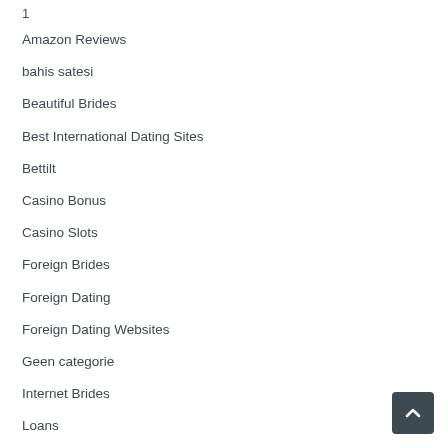1
Amazon Reviews
bahis satesi
Beautiful Brides
Best International Dating Sites
Bettilt
Casino Bonus
Casino Slots
Foreign Brides
Foreign Dating
Foreign Dating Websites
Geen categorie
Internet Brides
Loans
Meet Beautiful Brides